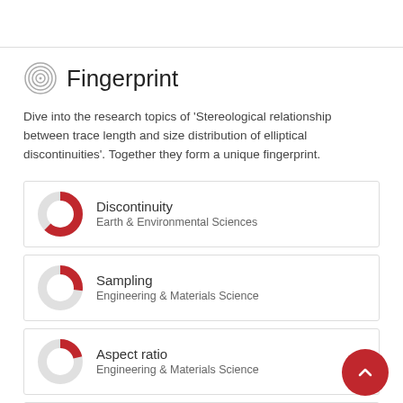Fingerprint
Dive into the research topics of 'Stereological relationship between trace length and size distribution of elliptical discontinuities'. Together they form a unique fingerprint.
Discontinuity
Earth & Environmental Sciences
Sampling
Engineering & Materials Science
Aspect ratio
Engineering & Materials Science
Ellipse
Earth & Environmental Sciences